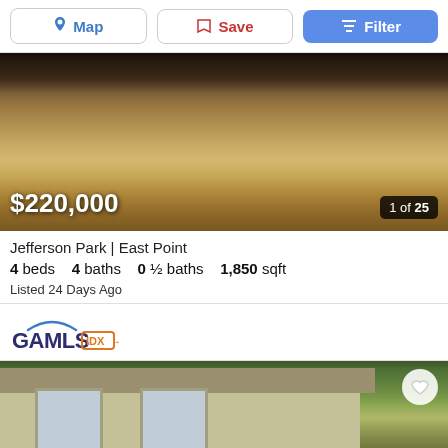[Figure (screenshot): Toolbar with Map, Save, and Filter buttons]
[Figure (photo): Exterior photo of property yard with dry grass and house structure, showing price $220,000 and photo counter 1 of 25]
Jefferson Park | East Point
4 beds   4 baths   0 ½ baths   1,850 sqft
Listed 24 Days Ago
[Figure (logo): GAMLS IDX logo]
[Figure (photo): Exterior photo of house with tan/beige siding and green trees in background, with heart/save icon]